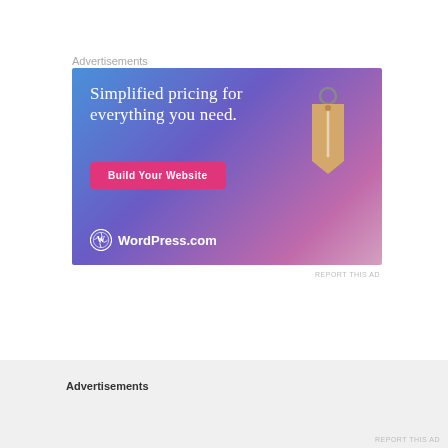Advertisements
[Figure (illustration): WordPress.com advertisement banner with gradient blue-purple-pink background. Shows text 'Simplified pricing for everything you need.' with a pink 'Build Your Website' button and a 3D price tag image. WordPress.com logo at bottom left.]
REPORT THIS AD
Advertisements
REPORT THIS AD